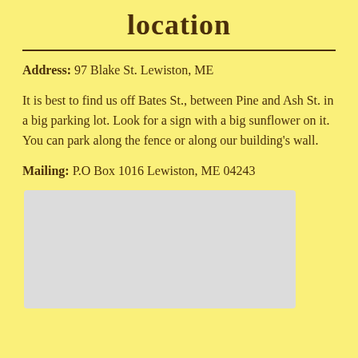location
Address: 97 Blake St. Lewiston, ME
It is best to find us off Bates St., between Pine and Ash St. in a big parking lot. Look for a sign with a big sunflower on it. You can park along the fence or along our building's wall.
Mailing: P.O Box 1016 Lewiston, ME 04243
[Figure (photo): Map placeholder showing location]